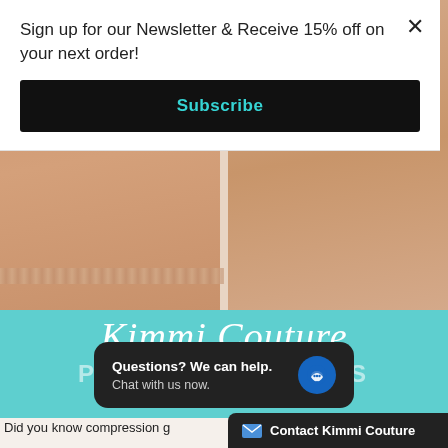Sign up for our Newsletter & Receive 15% off on your next order!
Subscribe
[Figure (photo): Two models wearing nude/beige shapewear compression shorts. Left model is darker-skinned showing the front view with lace trim at the thighs, right model shows a side/back view. Set against a light pink/beige background.]
[Figure (photo): Teal banner with 'Kimmi Couture' in white script font and 'POSTOPERATIVE FAJAS' in light text below]
Questions? We can help. Chat with us now.
Contact Kimmi Couture
Did you know compression g